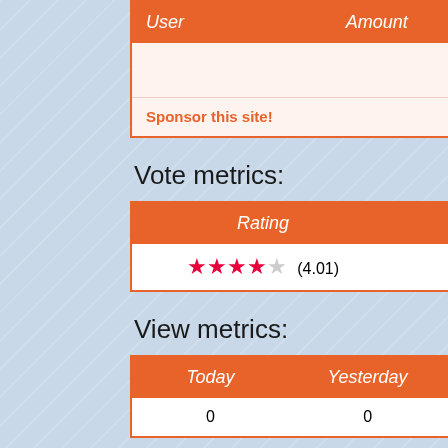| User | Amount | User |
| --- | --- | --- |
|  |  | No one has sponsored |
| Sponsor this site! |  | Total: $0.0 |
Vote metrics:
| Rating | Total Votes |
| --- | --- |
| ★★★★☆ (4.01) | 494 |
View metrics:
| Today | Yesterday | This Week |
| --- | --- | --- |
| 0 | 0 | 0 |
Inbound links:
| Views | Url |
| --- | --- |